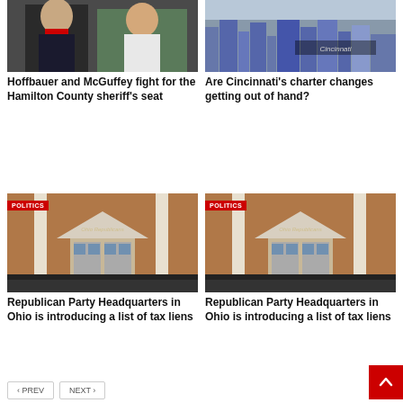[Figure (photo): Two men in formal attire, one wearing a red tie]
Hoffbauer and McGuffey fight for the Hamilton County sheriff's seat
[Figure (photo): Cincinnati city skyline with Cincinnati sign]
Are Cincinnati's charter changes getting out of hand?
[Figure (photo): Ohio Republican Party Headquarters building with POLITICS badge]
Republican Party Headquarters in Ohio is introducing a list of tax liens
[Figure (photo): Ohio Republican Party Headquarters building with POLITICS badge]
Republican Party Headquarters in Ohio is introducing a list of tax liens